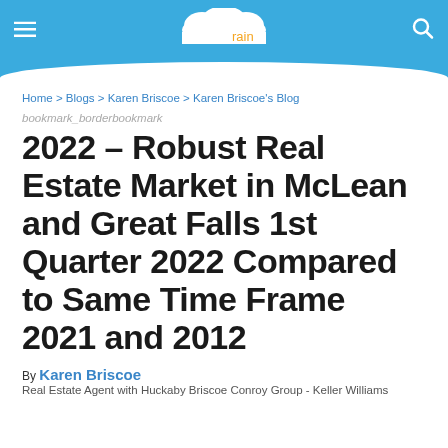[Figure (logo): ActiveRain website header with logo — cloud shape, 'active rain' text in white and orange on blue background, hamburger menu icon on left, search icon on right]
Home > Blogs > Karen Briscoe > Karen Briscoe's Blog
bookmark_borderbookmark
2022 – Robust Real Estate Market in McLean and Great Falls 1st Quarter 2022 Compared to Same Time Frame 2021 and 2012
By Karen Briscoe
Real Estate Agent with Huckaby Briscoe Conroy Group - Keller Williams